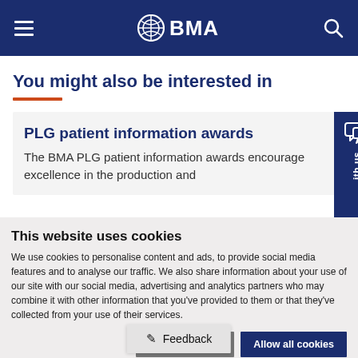BMA
You might also be interested in
PLG patient information awards
The BMA PLG patient information awards encourage excellence in the production and
This website uses cookies
We use cookies to personalise content and ads, to provide social media features and to analyse our traffic. We also share information about your use of our site with our social media, advertising and analytics partners who may combine it with other information that you've provided to them or that they've collected from your use of their services.
Allow selection   Allow all cookies
Necessary   Prefe...   ...s   Show details   Marketing   Feedback